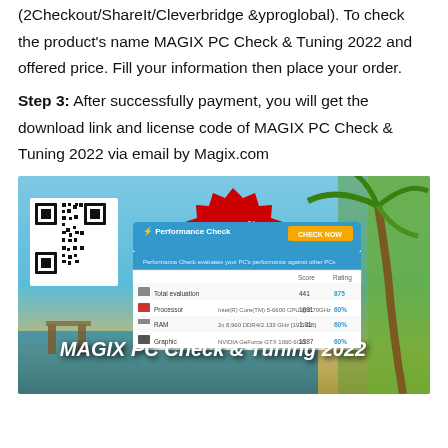(2Checkout/ShareIt/Cleverbridge &yproglobal). To check the product's name MAGIX PC Check & Tuning 2022 and offered price. Fill your information then place your order.
Step 3: After successfully payment, you will get the download link and license code of MAGIX PC Check & Tuning 2022 via email by Magix.com
[Figure (screenshot): Screenshot of MAGIX PC Check & Tuning 2022 software interface showing a Performance Check panel with scores for Total evaluation (441/875), Processor (1691/60%), RAM (1.01/60%), and Graphic (1387/60%). A red starburst badge shows 20% OFF. A QR code is visible in the top left. Beach/tropical background with palm trees.]